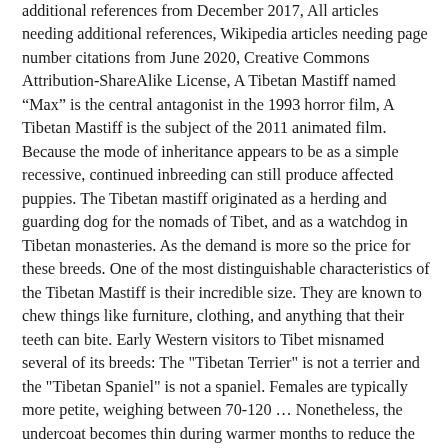additional references from December 2017, All articles needing additional references, Wikipedia articles needing page number citations from June 2020, Creative Commons Attribution-ShareAlike License, A Tibetan Mastiff named “Max” is the central antagonist in the 1993 horror film, A Tibetan Mastiff is the subject of the 2011 animated film. Because the mode of inheritance appears to be as a simple recessive, continued inbreeding can still produce affected puppies. The Tibetan mastiff originated as a herding and guarding dog for the nomads of Tibet, and as a watchdog in Tibetan monasteries. As the demand is more so the price for these breeds. One of the most distinguishable characteristics of the Tibetan Mastiff is their incredible size. They are known to chew things like furniture, clothing, and anything that their teeth can bite. Early Western visitors to Tibet misnamed several of its breeds: The "Tibetan Terrier" is not a terrier and the "Tibetan Spaniel" is not a spaniel. Females are typically more petite, weighing between 70-120 … Nonetheless, the undercoat becomes thin during warmer months to reduce the effects of high temperatures on the dog. Nevertheless, they turn into annoying barkers at night when left outdoors and only quieten when they are taken indoors. … The Tibetan Mastiff was one of 20 breeds who met the requirements. The minimum size of Tibetan mastiff females is 61 centimeters at the cross, while males are a minimum of 66 centimeters at the cross. Click here to learn more about the Tibetan Mastiff Breed. Birth weight is dependant on a variety of